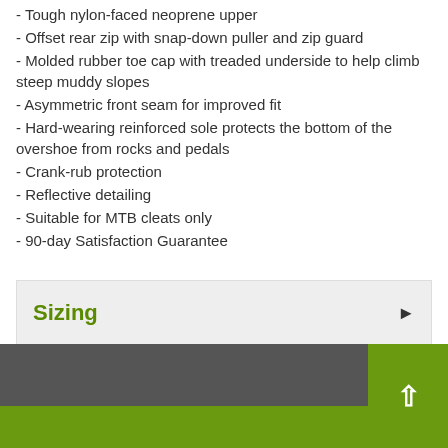- Tough nylon-faced neoprene upper
- Offset rear zip with snap-down puller and zip guard
- Molded rubber toe cap with treaded underside to help climb steep muddy slopes
- Asymmetric front seam for improved fit
- Hard-wearing reinforced sole protects the bottom of the overshoe from rocks and pedals
- Crank-rub protection
- Reflective detailing
- Suitable for MTB cleats only
- 90-day Satisfaction Guarantee
Sizing